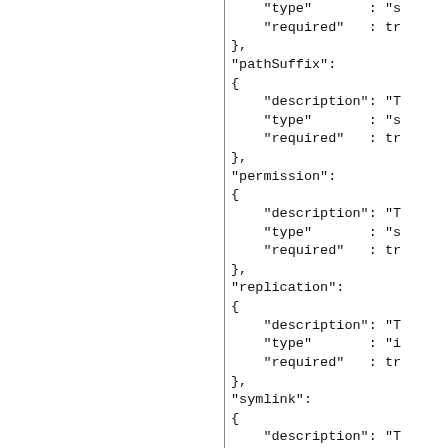JSON schema code snippet showing properties: type, required, pathSuffix with description/type/required, permission with description/type/required, replication with description/type/required, symlink with description/type, type with description/enum